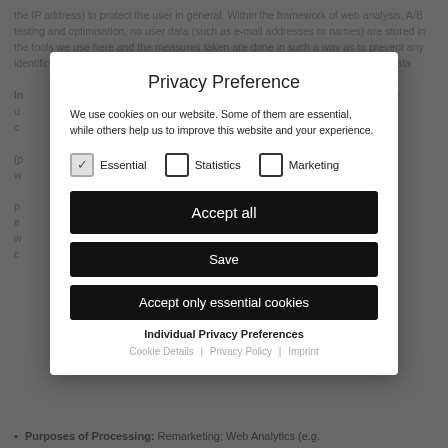the IP address) to protect the user in general. Within the framework of web analysis, A/B testing and optimisation, no user data (such as e-mail addresses or names) are stored in the tools we use here and the measures taken are done in such a way as to prevent any identification of the individual user. We only use providers that either process the data
[Figure (screenshot): Privacy Preference modal dialog overlay on a document page. The modal contains: title 'Privacy Preference', description text 'We use cookies on our website. Some of them are essential, while others help us to improve this website and your experience.', three checkbox options (Essential - checked, Statistics - unchecked, Marketing - unchecked), three buttons ('Accept all', 'Save', 'Accept only essential cookies'), a bold link 'Individual Privacy Preferences', and footer links 'Cookie Details | Privacy Policy | Imprint'.]
Purposes of Processing: Remarketing; Web Analytics (e.g.